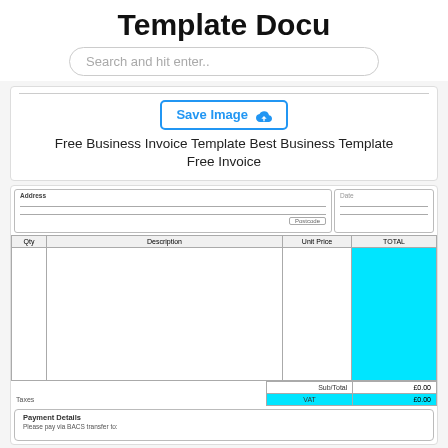Template Docu
Search and hit enter..
Save Image
Free Business Invoice Template Best Business Template Free Invoice
[Figure (screenshot): Invoice template preview showing address fields, items table with Qty/Description/Unit Price/TOTAL columns (TOTAL column highlighted in cyan), subtotal row showing £0.00, VAT row showing £0.00, and Payment Details section with BACS transfer text.]
Save Image